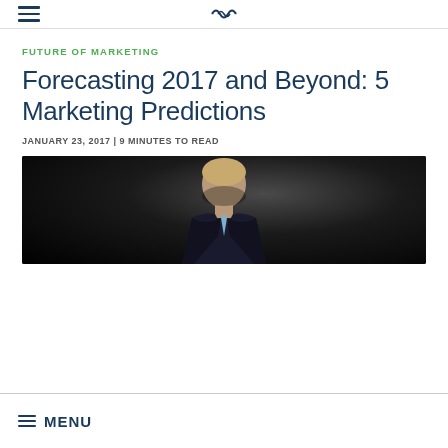[Logo]
FUTURE OF MARKETING
Forecasting 2017 and Beyond: 5 Marketing Predictions
JANUARY 23, 2017 | 9 MINUTES TO READ
[Figure (photo): Man in suit looking down, dark moody background]
MENU